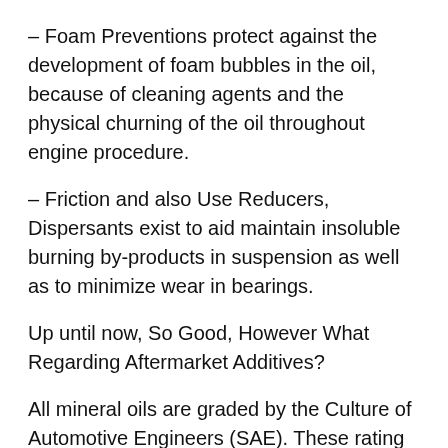– Foam Preventions protect against the development of foam bubbles in the oil, because of cleaning agents and the physical churning of the oil throughout engine procedure.
– Friction and also Use Reducers, Dispersants exist to aid maintain insoluble burning by-products in suspension as well as to minimize wear in bearings.
Up until now, So Good, However What Regarding Aftermarket Additives?
All mineral oils are graded by the Culture of Automotive Engineers (SAE). These rating standards are based upon the expected tons and also temperature level varieties under which a provided